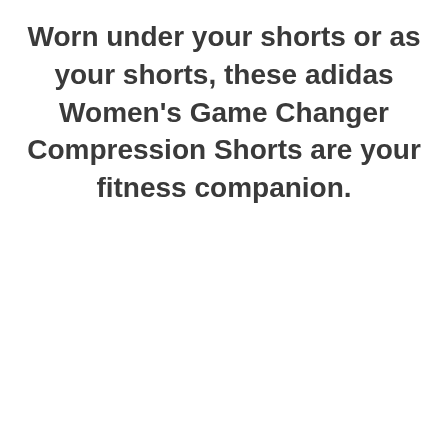Worn under your shorts or as your shorts, these adidas Women's Game Changer Compression Shorts are your fitness companion.